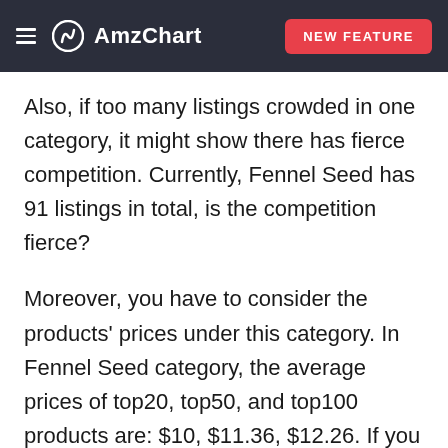AmzChart | NEW FEATURE
Also, if too many listings crowded in one category, it might show there has fierce competition. Currently, Fennel Seed has 91 listings in total, is the competition fierce?
Moreover, you have to consider the products' prices under this category. In Fennel Seed category, the average prices of top20, top50, and top100 products are: $10, $11.36, $12.26. If you want to rank your products higher in the Fennel Seed category, accordingly, when you